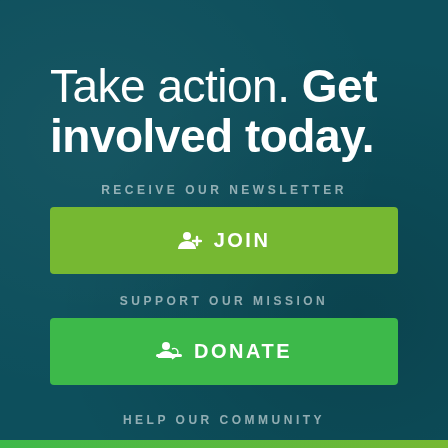Take action. Get involved today.
RECEIVE OUR NEWSLETTER
JOIN
SUPPORT OUR MISSION
DONATE
HELP OUR COMMUNITY